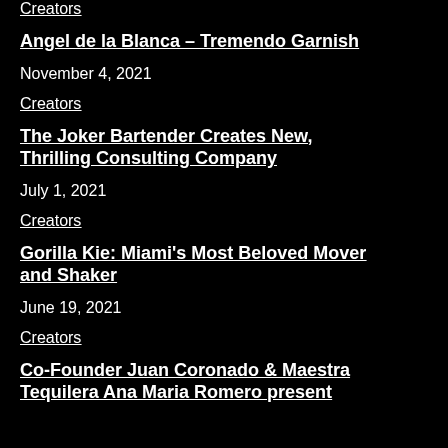Creators
Angel de la Blanca – Tremendo Garnish
November 4, 2021
Creators
The Joker Bartender Creates New, Thrilling Consulting Company
July 1, 2021
Creators
Gorilla Kie: Miami's Most Beloved Mover and Shaker
June 19, 2021
Creators
Co-Founder Juan Coronado & Maestra Tequilera Ana Maria Romero present